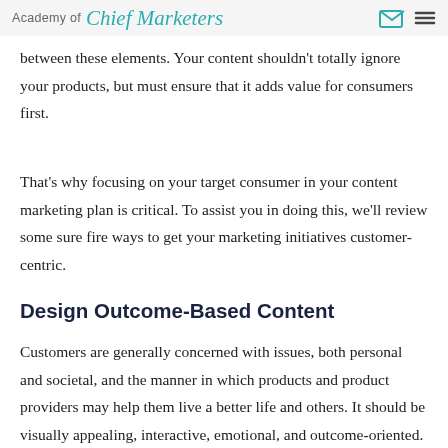Academy of Chief Marketers
between these elements. Your content shouldn't totally ignore your products, but must ensure that it adds value for consumers first.
That's why focusing on your target consumer in your content marketing plan is critical. To assist you in doing this, we'll review some sure fire ways to get your marketing initiatives customer-centric.
Design Outcome-Based Content
Customers are generally concerned with issues, both personal and societal, and the manner in which products and product providers may help them live a better life and others. It should be visually appealing, interactive, emotional, and outcome-oriented. Evocative content is one of the best things you can